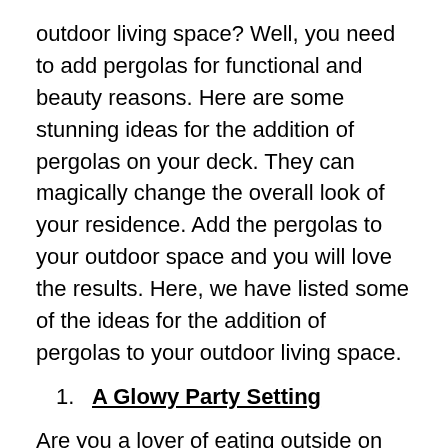outdoor living space? Well, you need to add pergolas for functional and beauty reasons. Here are some stunning ideas for the addition of pergolas on your deck. They can magically change the overall look of your residence. Add the pergolas to your outdoor space and you will love the results. Here, we have listed some of the ideas for the addition of pergolas to your outdoor living space.
1. A Glowy Party Setting
Are you a lover of eating outside on your deck in the outdoor space? Then all you need is the addition of a pergola on your decking area. A pergola provides you with the outdoor dining area in a unique way. This kind of pergola addition idea will not only provide you with a beautiful dining area, but also you can hang the accessories on your pergola. You can hang the outdoor lanterns and potted plants to increase the beauty of your deck. Try this idea of pergola addition with our Pergola &